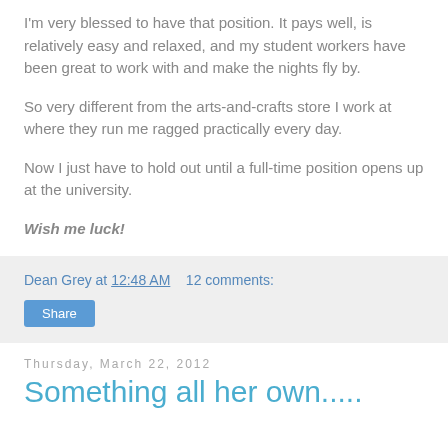I'm very blessed to have that position. It pays well, is relatively easy and relaxed, and my student workers have been great to work with and make the nights fly by.
So very different from the arts-and-crafts store I work at where they run me ragged practically every day.
Now I just have to hold out until a full-time position opens up at the university.
Wish me luck!
Dean Grey at 12:48 AM   12 comments:
Share
Thursday, March 22, 2012
Something all her own.....